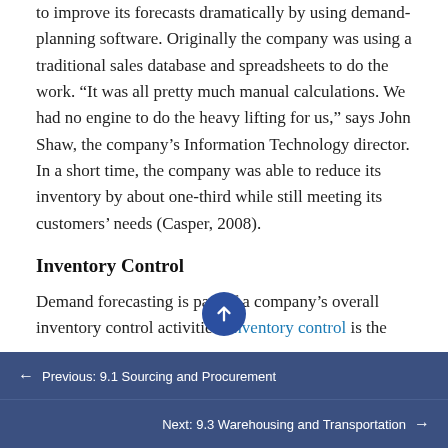to improve its forecasts dramatically by using demand-planning software. Originally the company was using a traditional sales database and spreadsheets to do the work. “It was all pretty much manual calculations. We had no engine to do the heavy lifting for us,” says John Shaw, the company’s Information Technology director. In a short time, the company was able to reduce its inventory by about one-third while still meeting its customers’ needs (Casper, 2008).
Inventory Control
Demand forecasting is part of a company’s overall inventory control activities. Inventory control is the
← Previous: 9.1 Sourcing and Procurement
Next: 9.3 Warehousing and Transportation →